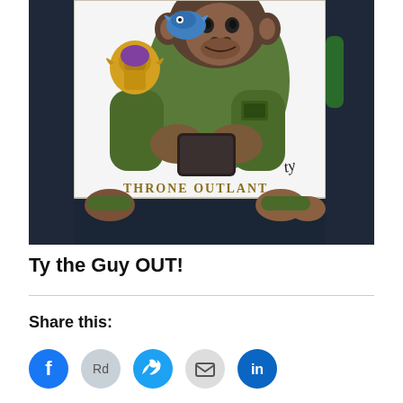[Figure (photo): A person holding up an illustrated artwork/canvas showing a chimpanzee in a green military-style jacket holding a dark object (phone/wallet), with cartoon character stickers (Thanos-style figure in yellow armor, blue dragon), and the text 'THRONE OUTLANT' in stylized lettering at the bottom of the canvas. The artwork is signed 'ty'.]
Ty the Guy OUT!
Share this: